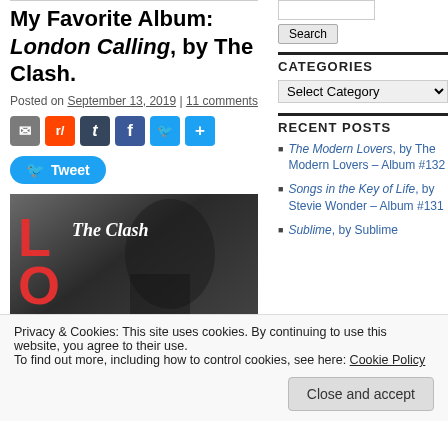My Favorite Album: London Calling, by The Clash.
Posted on September 13, 2019 | 11 comments
[Figure (other): Row of social share icon buttons: email, Reddit, Tumblr, Facebook, Twitter, share/plus]
[Figure (other): Tweet button with Twitter bird icon]
[Figure (photo): Album cover of London Calling by The Clash — black and white photo with red LOND letters on left side and 'The Clash' text in italic white]
CATEGORIES
[Figure (other): Select Category dropdown]
RECENT POSTS
The Modern Lovers, by The Modern Lovers – Album #132
Songs in the Key of Life, by Stevie Wonder – Album #131
Sublime, by Sublime
Privacy & Cookies: This site uses cookies. By continuing to use this website, you agree to their use.
To find out more, including how to control cookies, see here: Cookie Policy
Close and accept